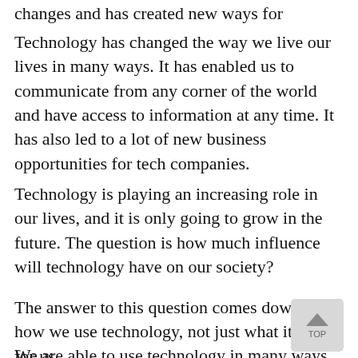changes and has created new ways for
Technology has changed the way we live our lives in many ways. It has enabled us to communicate from any corner of the world and have access to information at any time. It has also led to a lot of new business opportunities for tech companies.
Technology is playing an increasing role in our lives, and it is only going to grow in the future. The question is how much influence will technology have on our society?
The answer to this question comes down to how we use technology, not just what it can do for us.
We are able to use technology in many ways.